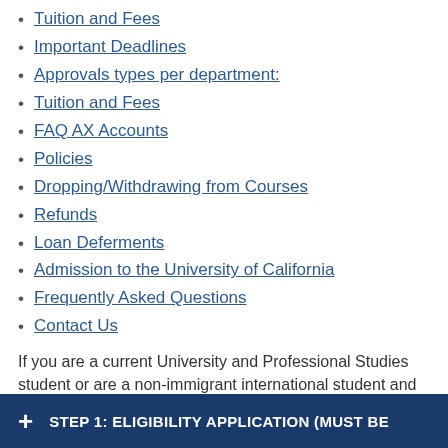Tuition and Fees
Important Deadlines
Approvals types per department:
Tuition and Fees
FAQ AX Accounts
Policies
Dropping/Withdrawing from Courses
Refunds
Loan Deferments
Admission to the University of California
Frequently Asked Questions
Contact Us
If you are a current University and Professional Studies student or are a non-immigrant international student and you would like to enroll in a full-time study program of university credit-bearing classes, visit University and Professional Studies (UPS) or contact ups-program@ucsd.edu
+ STEP 1: ELIGIBILITY APPLICATION (MUST BE